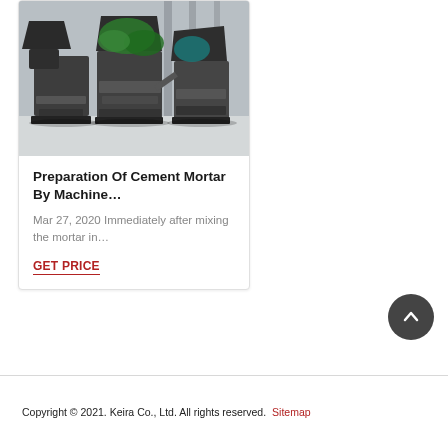[Figure (photo): Industrial cement mortar mixing machines on a factory floor, painted dark grey/black with green bags visible in the background, inside a large warehouse.]
Preparation Of Cement Mortar By Machine…
Mar 27, 2020 Immediately after mixing the mortar in…
GET PRICE
Copyright © 2021. Keira Co., Ltd. All rights reserved.   Sitemap